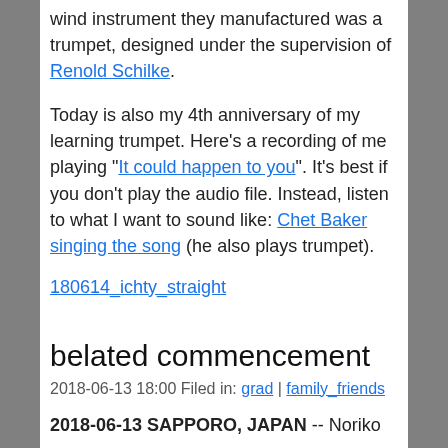wind instrument they manufactured was a trumpet, designed under the supervision of Renold Schilke.
Today is also my 4th anniversary of my learning trumpet. Here's a recording of me playing "It could happen to you". It's best if you don't play the audio file. Instead, listen to what I want to sound like: Chet Baker singing the song (he also plays trumpet).
180614_ichty_straight
belated commencement
2018-06-13 18:00 Filed in: grad | family_friends
2018-06-13 SAPPORO, JAPAN -- Noriko